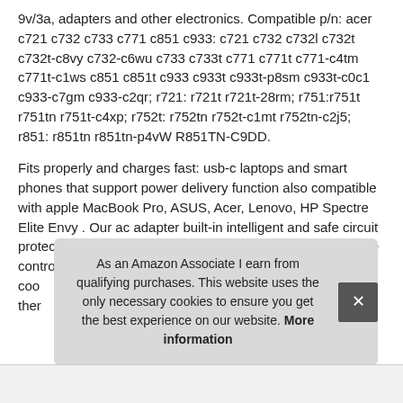9v/3a, adapters and other electronics. Compatible p/n: acer c721 c732 c733 c771 c851 c933: c721 c732 c732l c732t c732t-c8vy c732-c6wu c733 c733t c771 c771t c771-c4tm c771t-c1ws c851 c851t c933 c933t c933t-p8sm c933t-c0c1 c933-c7gm c933-c2qr; r721: r721t r721t-28rm; r751:r751t r751tn r751t-c4xp; r752t: r752tn r752t-c1mt r752tn-c2j5; r851: r851tn r851tn-p4vW R851TN-C9DD.
Fits properly and charges fast: usb-c laptops and smart phones that support power delivery function also compatible with apple MacBook Pro, ASUS, Acer, Lenovo, HP Spectre Elite Envy . Our ac adapter built-in intelligent and safe circuit protection chip, Dell, Huawei Matebook, Xiaomi Air, accurate control voltage; ABS+PC non-combustible shell high tem... coo... ther...
As an Amazon Associate I earn from qualifying purchases. This website uses the only necessary cookies to ensure you get the best experience on our website. More information